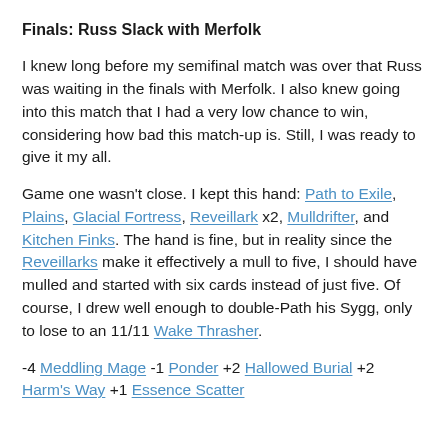Finals: Russ Slack with Merfolk
I knew long before my semifinal match was over that Russ was waiting in the finals with Merfolk. I also knew going into this match that I had a very low chance to win, considering how bad this match-up is. Still, I was ready to give it my all.
Game one wasn't close. I kept this hand: Path to Exile, Plains, Glacial Fortress, Reveillark x2, Mulldrifter, and Kitchen Finks. The hand is fine, but in reality since the Reveillarks make it effectively a mull to five, I should have mulled and started with six cards instead of just five. Of course, I drew well enough to double-Path his Sygg, only to lose to an 11/11 Wake Thrasher.
-4 Meddling Mage -1 Ponder +2 Hallowed Burial +2 Harm's Way +1 Essence Scatter